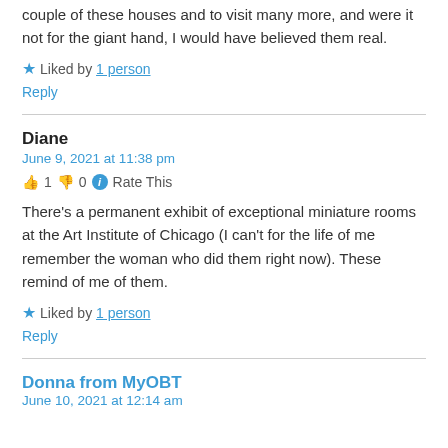couple of these houses and to visit many more, and were it not for the giant hand, I would have believed them real.
★ Liked by 1 person
Reply
Diane
June 9, 2021 at 11:38 pm
👍 1 👎 0 ℹ Rate This
There's a permanent exhibit of exceptional miniature rooms at the Art Institute of Chicago (I can't for the life of me remember the woman who did them right now). These remind of me of them.
★ Liked by 1 person
Reply
Donna from MyOBT
June 10, 2021 at 12:14 am